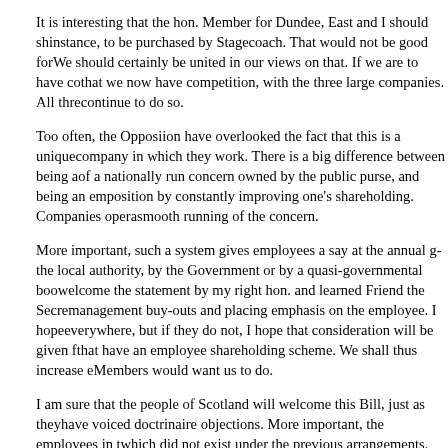It is interesting that the hon. Member for Dundee, East and I should sh... instance, to be purchased by Stagecoach. That would not be good for... We should certainly be united in our views on that. If we are to have co... that we now have competition, with the three large companies. All thre... continue to do so.
Too often, the Opposiion have overlooked the fact that this is a unique... company in which they work. There is a big difference between being a... of a nationally run concern owned by the public purse, and being an em... position by constantly improving one's shareholding. Companies opera... smooth running of the concern.
More important, such a system gives employees a say at the annual g... the local authority, by the Government or by a quasi-governmental boo... welcome the statement by my right hon. and learned Friend the Secre... management buy-outs and placing emphasis on the employee. I hope... everywhere, but if they do not, I hope that consideration will be given f... that have an employee shareholding scheme. We shall thus increase e... Members would want us to do.
I am sure that the people of Scotland will welcome this Bill, just as they... have voiced doctrinaire objections. More important, the employees in t... which did not exist under the previous arrangements.
9.19 pm
Mrs. Ray Michie (Argyll and Bute) : If we must have bus privatisatio... option. I believe that it is the only way to ensure commitment and a sta... that the Government will assist staff contemplating a bid to obtain profe... crucial that a realistic preference be given to